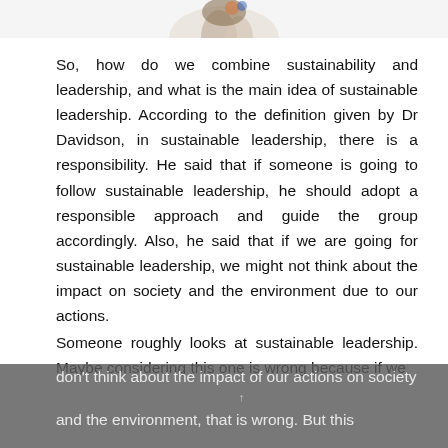[Figure (illustration): Partial illustration visible at the top of the page, cut off]
So, how do we combine sustainability and leadership, and what is the main idea of sustainable leadership. According to the definition given by Dr Davidson, in sustainable leadership, there is a responsibility. He said that if someone is going to follow sustainable leadership, he should adopt a responsible approach and guide the group accordingly. Also, he said that if we are going for sustainable leadership, we might not think about the impact on society and the environment due to our actions.
Someone roughly looks at sustainable leadership. Maybe considering this one is wrong because if we don't think about the impact of our actions on society and the environment, that is wrong. But this